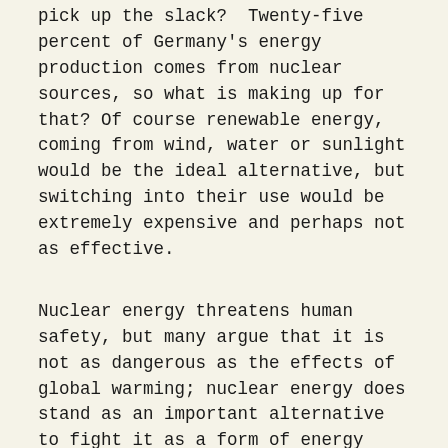pick up the slack?  Twenty-five percent of Germany's energy production comes from nuclear sources, so what is making up for that? Of course renewable energy, coming from wind, water or sunlight would be the ideal alternative, but switching into their use would be extremely expensive and perhaps not as effective.
Nuclear energy threatens human safety, but many argue that it is not as dangerous as the effects of global warming; nuclear energy does stand as an important alternative to fight it as a form of energy that emits far fewer greenhouse gasses. So what is the better and/or less harmful choice?